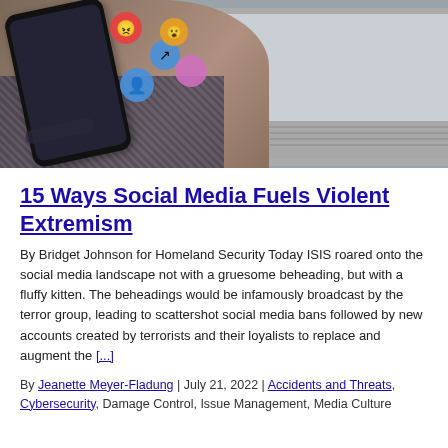[Figure (photo): Person holding a smartphone with colorful social media emoji reaction icons floating above it, with a laptop visible in the background on a desk]
15 Ways Social Media Fuels Violent Extremism
By Bridget Johnson for Homeland Security Today ISIS roared onto the social media landscape not with a gruesome beheading, but with a fluffy kitten. The beheadings would be infamously broadcast by the terror group, leading to scattershot social media bans followed by new accounts created by terrorists and their loyalists to replace and augment the [...]
By Jeanette Meyer-Fladung | July 21, 2022 | Accidents and Threats, Cybersecurity, Damage Control, Issue Management, Media Culture